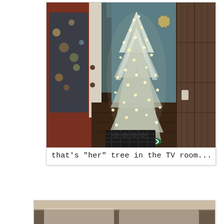[Figure (photo): Indoor hallway photo showing a flocked/white Christmas tree with warm white lights and a colorful tree skirt, viewed from an entryway with a red front door on the left, dark wood floors, wood-paneled wall on the right, and a dark doormat near the entry. A clock is visible on the wall in the background.]
that's "her" tree in the TV room...
[Figure (photo): Partial view of a second photo card at the bottom of the page, showing what appears to be an interior room scene (cropped).]